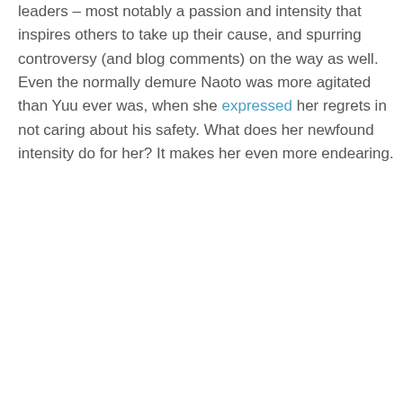leaders – most notably a passion and intensity that inspires others to take up their cause, and spurring controversy (and blog comments) on the way as well. Even the normally demure Naoto was more agitated than Yuu ever was, when she expressed her regrets in not caring about his safety. What does her newfound intensity do for her? It makes her even more endearing.